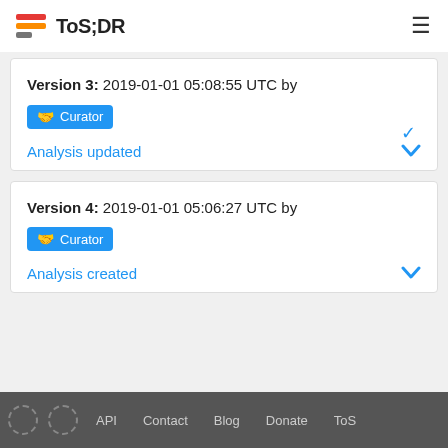ToS;DR
Version 3: 2019-01-01 05:08:55 UTC by Curator
Analysis updated
Version 4: 2019-01-01 05:06:27 UTC by Curator
Analysis created
API  Contact  Blog  Donate  ToS